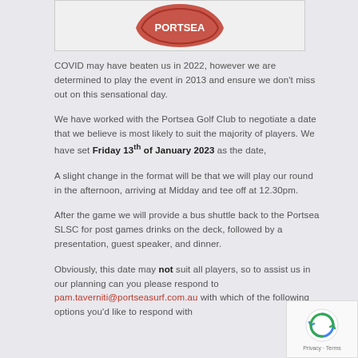[Figure (logo): Partial red logo/badge at the top of the page, partially visible]
COVID may have beaten us in 2022, however we are determined to play the event in 2013 and ensure we don't miss out on this sensational day.
We have worked with the Portsea Golf Club to negotiate a date that we believe is most likely to suit the majority of players. We have set Friday 13th of January 2023 as the date,
A slight change in the format will be that we will play our round in the afternoon, arriving at Midday and tee off at 12.30pm.
After the game we will provide a bus shuttle back to the Portsea SLSC for post games drinks on the deck, followed by a presentation, guest speaker, and dinner.
Obviously, this date may not suit all players, so to assist us in our planning can you please respond to pam.taverniti@portseasurf.com.au with which of the following options you'd like to respond with